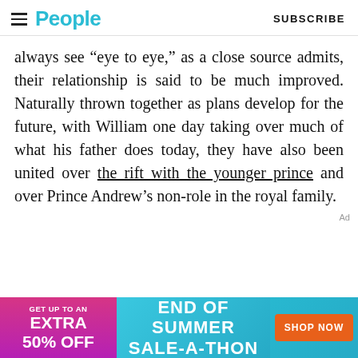People | SUBSCRIBE
always see “eye to eye,” as a close source admits, their relationship is said to be much improved. Naturally thrown together as plans develop for the future, with William one day taking over much of what his father does today, they have also been united over the rift with the younger prince and over Prince Andrew’s non-role in the royal family.
[Figure (other): Advertisement banner: End of Summer Sale-A-Thon. Get up to an extra 50% off. Shop Now button.]